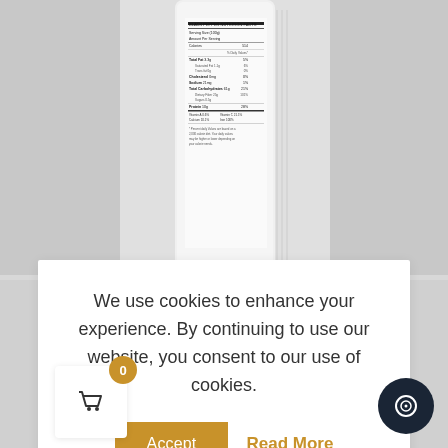[Figure (photo): Top half: white cylindrical tin/can product with black pepper nutrition facts label visible, on grey background. Bottom half: white cylindrical tin labeled '100% Organic Ceylon Black Pepper Powder' with Golden brand logo in gold.]
We use cookies to enhance your experience. By continuing to use our website, you consent to our use of cookies.
Accept  Read More
[Figure (other): Shopping cart icon in white box with orange badge showing '0'. Dark circular chat/messaging button at bottom right.]